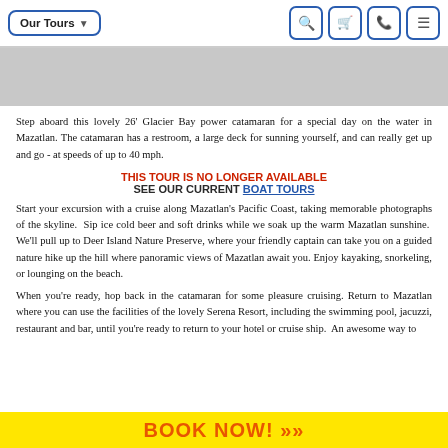Our Tours | [search] [cart] [phone] [menu]
[Figure (photo): Gray hero image placeholder of a boat/tour scene]
Step aboard this lovely 26' Glacier Bay power catamaran for a special day on the water in Mazatlan. The catamaran has a restroom, a large deck for sunning yourself, and can really get up and go - at speeds of up to 40 mph.
THIS TOUR IS NO LONGER AVAILABLE
SEE OUR CURRENT BOAT TOURS
Start your excursion with a cruise along Mazatlan's Pacific Coast, taking memorable photographs of the skyline.  Sip ice cold beer and soft drinks while we soak up the warm Mazatlan sunshine.  We'll pull up to Deer Island Nature Preserve, where your friendly captain can take you on a guided nature hike up the hill where panoramic views of Mazatlan await you. Enjoy kayaking, snorkeling, or lounging on the beach.
When you're ready, hop back in the catamaran for some pleasure cruising. Return to Mazatlan where you can use the facilities of the lovely Serena Resort, including the swimming pool, jacuzzi, restaurant and bar, until you're ready to return to your hotel or cruise ship.  An awesome way to
BOOK NOW! »